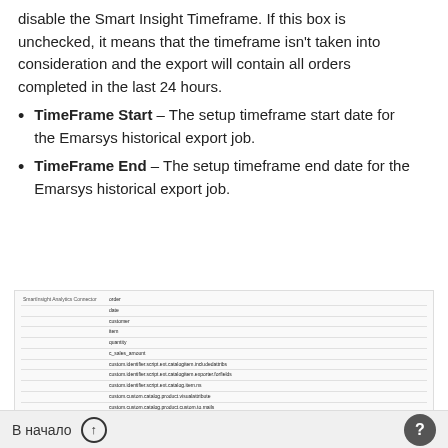disable the Smart Insight Timeframe. If this box is unchecked, it means that the timeframe isn't taken into consideration and the export will contain all orders completed in the last 24 hours.
TimeFrame Start – The setup timeframe start date for the Emarsys historical export job.
TimeFrame End – The setup timeframe end date for the Emarsys historical export job.
[Figure (screenshot): A configuration form showing SmartInsight Analytics Connector fields including order, date, customer, item, quantity, c_sales_amount, various custom attributes, custom product id/image/details/name, custom order fields, a clickable link, and input fields for HTTP username/password and HTTP Timeout.]
В начало ↑